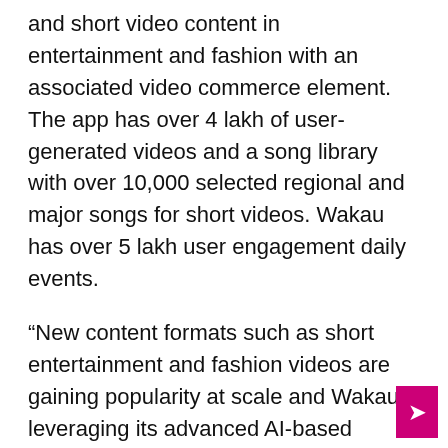and short video content in entertainment and fashion with an associated video commerce element. The app has over 4 lakh of user-generated videos and a song library with over 10,000 selected regional and major songs for short videos. Wakau has over 5 lakh user engagement daily events.
“New content formats such as short entertainment and fashion videos are gaining popularity at scale and Wakau, leveraging its advanced AI-based technology stack, has made it so easy, creative, fun and safe for consumers with its high levels of personalization. I would like to congratulate the team on the AI award and am excited to join this behemoth of possibilities with